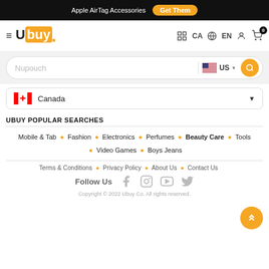Apple AirTag Accessories  Get Them
[Figure (logo): Ubuy logo with hamburger menu icon, CA country selector, EN language selector, user icon, and cart icon with 0 badge]
Nupouch  US
Canada
UBUY POPULAR SEARCHES
Mobile & Tab • Fashion • Electronics • Perfumes • Beauty Care • Tools • Video Games • Boys Jeans
Terms & Conditions • Privacy Policy • About Us • Contact Us
Follow Us
Copyright © 2022 Ubuy Co. All rights reserved.